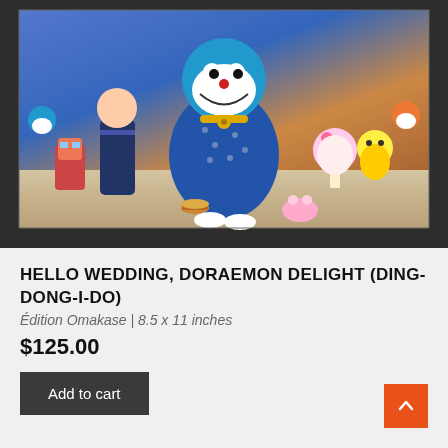[Figure (photo): Product image of 'Hello Wedding, Doraemon Delight (Ding-Dong-I-Do)' art print showing colorful cartoon characters including Doraemon in a wedding kimono with various other characters on a dark background]
HELLO WEDDING, DORAEMON DELIGHT (DING-DONG-I-DO)
Édition Omakase | 8.5 x 11 inches
$125.00
Add to cart